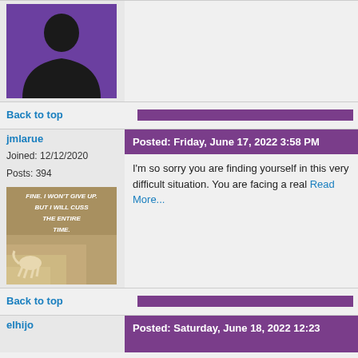[Figure (photo): Purple background silhouette avatar placeholder image]
Back to top
jmlarue
Posted: Friday, June 17, 2022 3:58 PM
Joined: 12/12/2020
Posts: 394
I'm so sorry you are finding yourself in this very difficult situation. You are facing a real Read More...
[Figure (photo): Dog on stairs with motivational humorous text: FINE. I WON'T GIVE UP. BUT I WILL CUSS THE ENTIRE TIME.]
Back to top
elhijo
Posted: Saturday, June 18, 2022 12:23